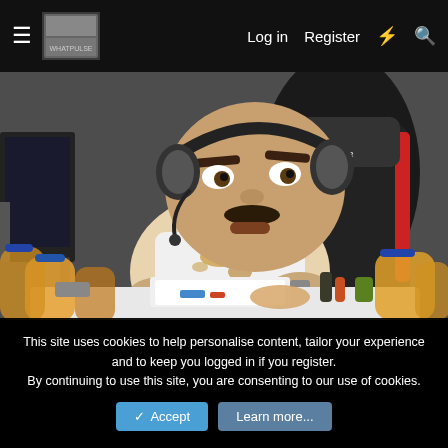Log in  Register
[Figure (photo): A humorous/meme image of a person with an exaggerated face wearing a gaming headset and sitting in a red and black gaming chair, playing a video game controller. The person is wearing a stained white tank top. In front of them is a messy desk/tray with food, bottles, and clutter. A gaming monitor is visible on the left.]
This site uses cookies to help personalise content, tailor your experience and to keep you logged in if you register.
By continuing to use this site, you are consenting to our use of cookies.
Accept  Learn more...